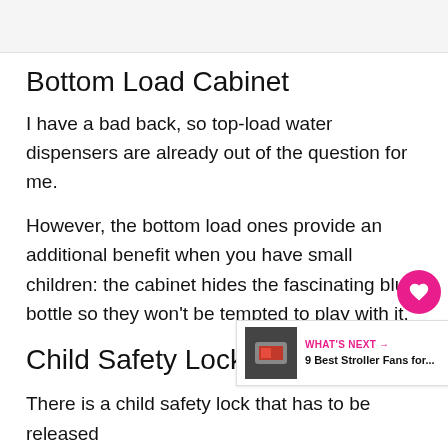[Figure (photo): Top image area, partially visible, light gray background]
Bottom Load Cabinet
I have a bad back, so top-load water dispensers are already out of the question for me.
However, the bottom load ones provide an additional benefit when you have small children: the cabinet hides the fascinating blue bottle so they won't be tempted to play with it.
Child Safety Lock On Hot W
There is a child safety lock that has to be released